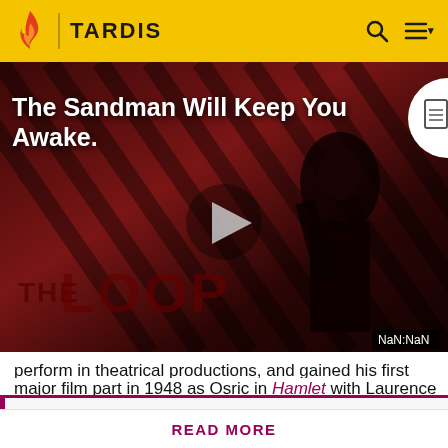TARDIS
[Figure (screenshot): Video player thumbnail showing 'The Sandman Will Keep You Awake' with a dark diagonal-striped red/brown background, a figure in black, play button in center, 'THE LOOP' text at bottom, and NaN:NaN time display]
perform in theatrical productions, and gained his first
major film part in 1948 as Osric in Hamlet with Laurence
Spoilers are precisely defined here. Rules vary by the story's medium. Info from television stories can't be added here
READ MORE